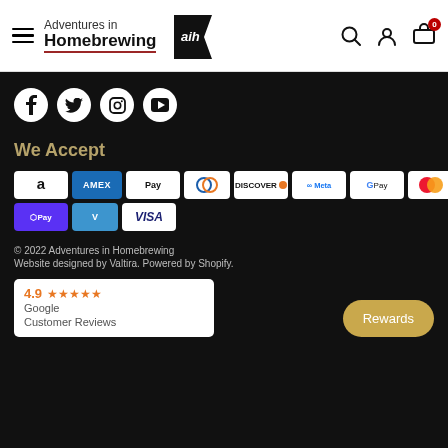Adventures in Homebrewing
[Figure (logo): Adventures in Homebrewing logo with flag graphic and 'aih' text]
[Figure (infographic): Social media icons: Facebook, Twitter, Instagram, YouTube — white circles on black background]
We Accept
[Figure (infographic): Payment method icons: Amazon, Amex, Apple Pay, Diners Club, Discover, Meta Pay, Google Pay, Mastercard, PayPal, Shop Pay, Venmo, Visa]
© 2022 Adventures in Homebrewing
Website designed by Valtira. Powered by Shopify.
[Figure (infographic): Google Customer Reviews badge showing 4.9 star rating with 5 gold stars]
Rewards